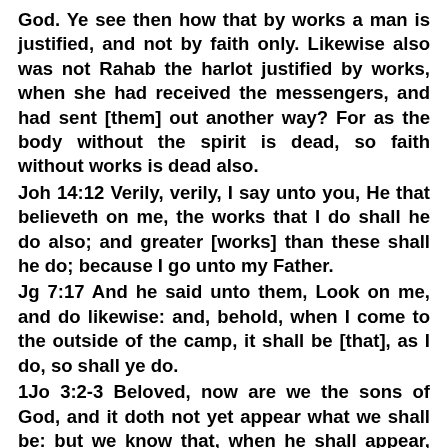God. Ye see then how that by works a man is justified, and not by faith only. Likewise also was not Rahab the harlot justified by works, when she had received the messengers, and had sent [them] out another way? For as the body without the spirit is dead, so faith without works is dead also.
Joh 14:12 Verily, verily, I say unto you, He that believeth on me, the works that I do shall he do also; and greater [works] than these shall he do; because I go unto my Father.
Jg 7:17 And he said unto them, Look on me, and do likewise: and, behold, when I come to the outside of the camp, it shall be [that], as I do, so shall ye do.
1Jo 3:2-3 Beloved, now are we the sons of God, and it doth not yet appear what we shall be: but we know that, when he shall appear, we shall be like him: for we shall see him as he is.